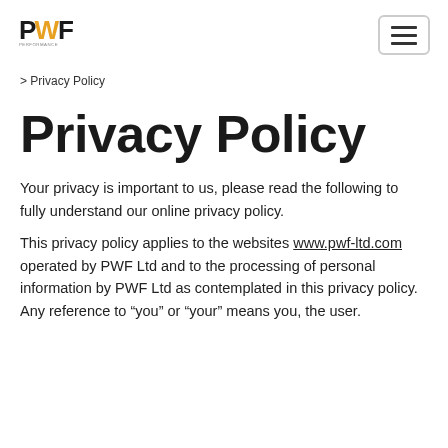PWF Performance [logo] [hamburger menu]
> Privacy Policy
Privacy Policy
Your privacy is important to us, please read the following to fully understand our online privacy policy.
This privacy policy applies to the websites www.pwf-ltd.com operated by PWF Ltd and to the processing of personal information by PWF Ltd as contemplated in this privacy policy. Any reference to “you” or “your” means you, the user.